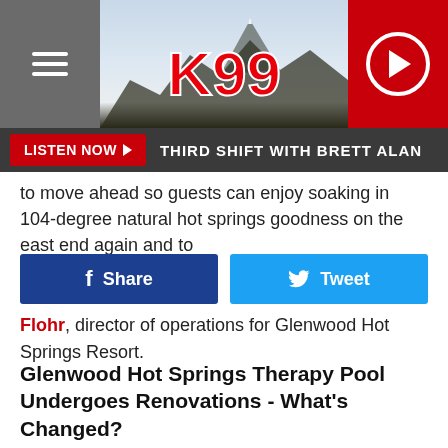[Figure (logo): K99 radio station website header with hamburger menu on left, K99 logo in center over mountain/sky background, red play button circle on right]
LISTEN NOW ▶  THIRD SHIFT WITH BRETT ALAN
to move ahead so guests can enjoy soaking in 104-degree natural hot springs goodness on the east end again and to
[Figure (other): Facebook Share button and Twitter Tweet button side by side]
Flohr, director of operations for Glenwood Hot Springs Resort.
Glenwood Hot Springs Therapy Pool Undergoes Renovations - What's Changed?
Visited by thousands of Coloradans and out-of-towners annually, the resort's therapy pool was in need of some love, considering it'd received little to no TLC since the 60s; during renovations, the Glenwood Hot Springs Therapy pool